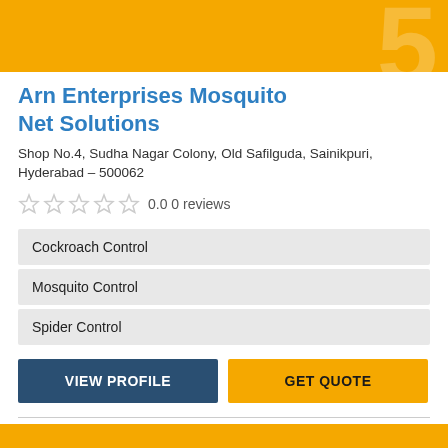[Figure (illustration): Yellow banner with semi-transparent watermark number/logo in background]
Arn Enterprises Mosquito Net Solutions
Shop No.4, Sudha Nagar Colony, Old Safilguda, Sainikpuri, Hyderabad - 500062
0.0 0 reviews
Cockroach Control
Mosquito Control
Spider Control
VIEW PROFILE
GET QUOTE